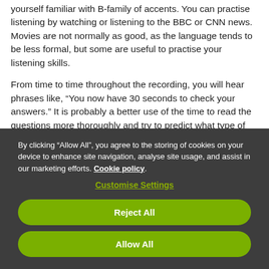yourself familiar with B-family of accents. You can practise listening by watching or listening to the BBC or CNN news. Movies are not normally as good, as the language tends to be less formal, but some are useful to practise your listening skills.
From time to time throughout the recording, you will hear phrases like, “You now have 30 seconds to check your answers.” It is probably a better use of the time to read the questions more thoroughly and try to predict what type of word the answer will require.
By clicking “Allow All”, you agree to the storing of cookies on your device to enhance site navigation, analyse site usage, and assist in our marketing efforts. Cookie policy.
Customise Settings
Reject All
Allow All